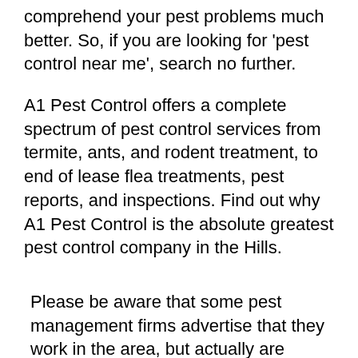comprehend your pest problems much better. So, if you are looking for 'pest control near me', search no further.
A1 Pest Control offers a complete spectrum of pest control services from termite, ants, and rodent treatment, to end of lease flea treatments, pest reports, and inspections. Find out why A1 Pest Control is the absolute greatest pest control company in the Hills.
Please be aware that some pest management firms advertise that they work in the area, but actually are based much further away. Our address is No 33 Bella Vista Drive, Bella Vista and are only 30 minutes from the city centre. Our working hours